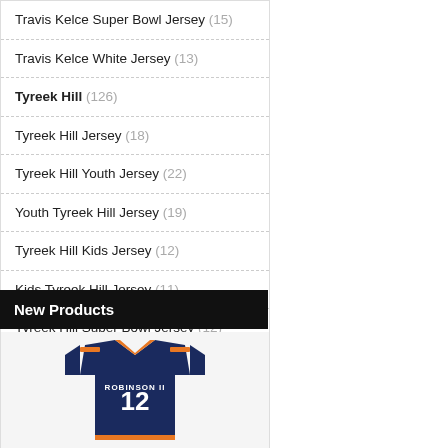Travis Kelce Super Bowl Jersey (15)
Travis Kelce White Jersey (13)
Tyreek Hill (126)
Tyreek Hill Jersey (18)
Tyreek Hill Youth Jersey (22)
Youth Tyreek Hill Jersey (19)
Tyreek Hill Kids Jersey (12)
Kids Tyreek Hill Jersey (11)
Tyreek Hill Super Bowl Jersey (12)
White Tyreek Hill Jersey (14)
Tyreek Hill Jersey Kids (18)
New Products
[Figure (photo): Chicago Bears jersey for Robinson #12 in navy blue with orange accents]